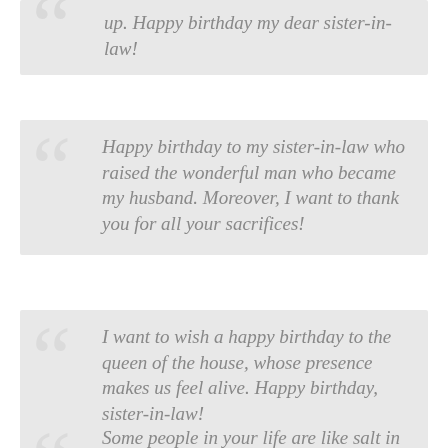up. Happy birthday my dear sister-in-law!
Happy birthday to my sister-in-law who raised the wonderful man who became my husband. Moreover, I want to thank you for all your sacrifices!
I want to wish a happy birthday to the queen of the house, whose presence makes us feel alive. Happy birthday, sister-in-law!
Some people in your life are like salt in